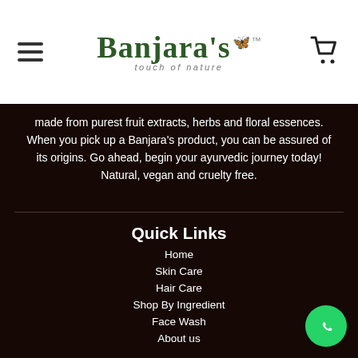[Figure (logo): Banjara's touch of nature logo with green serif text, pink butterfly, and tagline]
made from purest fruit extracts, herbs and floral essences. When you pick up a Banjara's product, you can be assured of its origins. Go ahead, begin your ayurvedic journey today! Natural, vegan and cruelty free.
Quick Links
Home
Skin Care
Hair Care
Shop By Ingredient
Face Wash
About us